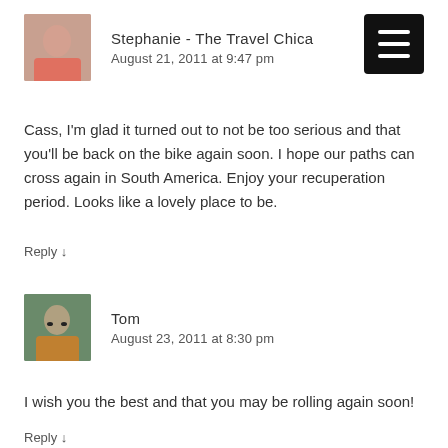Stephanie - The Travel Chica
August 21, 2011 at 9:47 pm
Cass, I'm glad it turned out to not be too serious and that you'll be back on the bike again soon. I hope our paths can cross again in South America. Enjoy your recuperation period. Looks like a lovely place to be.
Reply ↓
Tom
August 23, 2011 at 8:30 pm
I wish you the best and that you may be rolling again soon!
Reply ↓